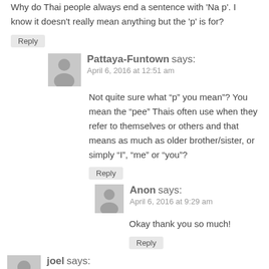Why do Thai people always end a sentence with 'Na p'. I know it doesn't really mean anything but the 'p' is for?
Reply
Pattaya-Funtown says:
April 6, 2016 at 12:51 am
Not quite sure what “p” you mean”? You mean the “pee” Thais often use when they refer to themselves or others and that means as much as older brother/sister, or simply “I”, “me” or “you”?
Reply
Anon says:
April 6, 2016 at 9:29 am
Okay thank you so much!
Reply
joel says:
April 15, 2016 at 7:51 am